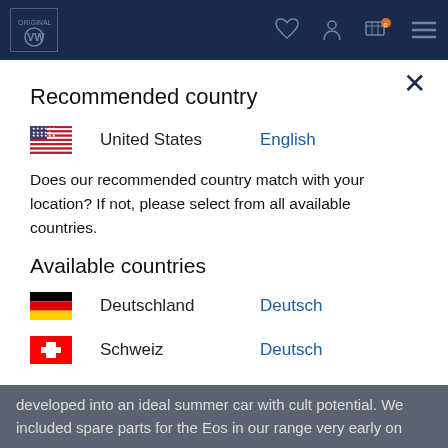VW Original Parts navigation bar with logo and icons
Recommended country
United States — English
Does our recommended country match with your location? If not, please select from all available countries.
Available countries
Deutschland — Deutsch
Schweiz — Deutsch
developed into an ideal summer car with cult potential. We included spare parts for the Eos in our range very early on